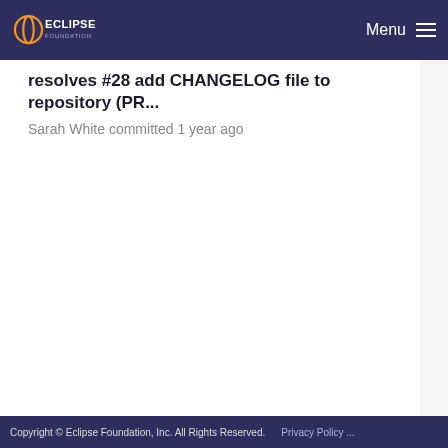Eclipse Foundation — Menu
resolves #28 add CHANGELOG file to repository (PR...
Sarah White committed 1 year ago
resolves #37 document the substitution values tha...
Dan Allen committed 1 year ago
Copyright © Eclipse Foundation, Inc. All Rights Reserved.  Privacy Policy ...